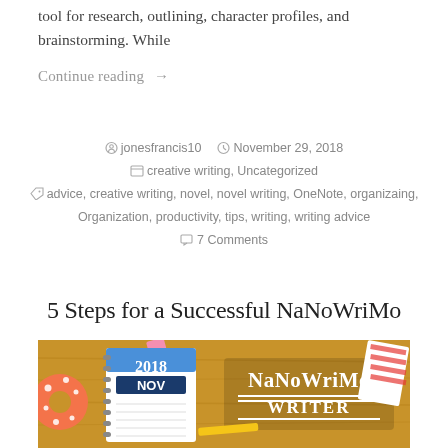tool for research, outlining, character profiles, and brainstorming. While
Continue reading →
jonesfrancis10  November 29, 2018  creative writing, Uncategorized  advice, creative writing, novel, novel writing, OneNote, organizaing, Organization, productivity, tips, writing, writing advice  7 Comments
5 Steps for a Successful NaNoWriMo
[Figure (photo): NaNoWriMo 2018 Writer banner image with a notebook showing '2018 NOV', a donut, and colorful stationery on a wooden background]